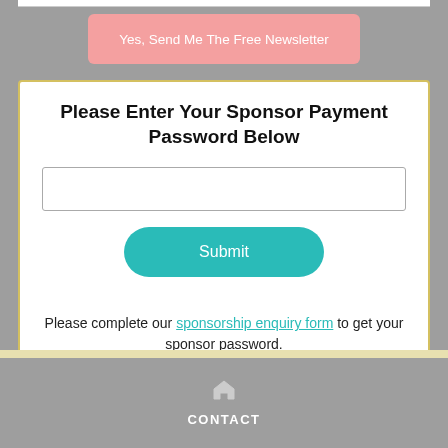Yes, Send Me The Free Newsletter
Please Enter Your Sponsor Payment Password Below
Submit
Please complete our sponsorship enquiry form to get your sponsor password.
CONTACT